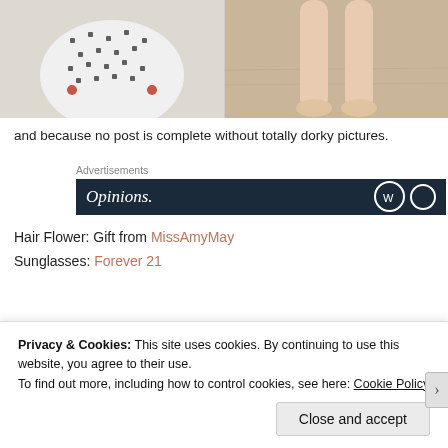[Figure (photo): Two side-by-side photos: left shows a person wearing a white polka-dot swimsuit bottom at the beach, right shows bare feet/legs standing on sand]
and because no post is complete without totally dorky pictures.
[Figure (screenshot): Advertisement banner with dark navy background showing 'Opinions.' in white italic text and two circular logos on the right]
Hair Flower: Gift from MissAmyMay
Sunglasses: Forever 21
Privacy & Cookies: This site uses cookies. By continuing to use this website, you agree to their use.
To find out more, including how to control cookies, see here: Cookie Policy